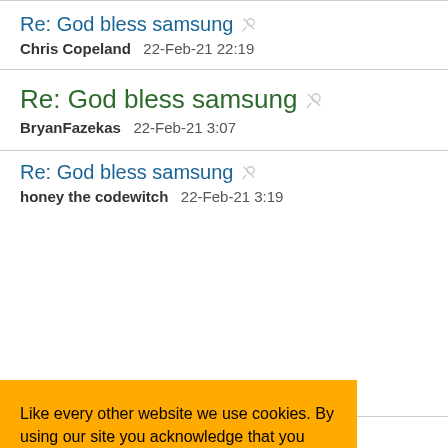Re: God bless samsung — Chris Copeland 22-Feb-21 22:19
Re: God bless samsung — BryanFazekas 22-Feb-21 3:07
Re: God bless samsung — honey the codewitch 22-Feb-21 3:19
Like every other website we use cookies. By using our site you acknowledge that you have read and understand our Cookie Policy, Privacy Policy, and our Terms of Service. Learn more
Re: God bless samsung (partial)